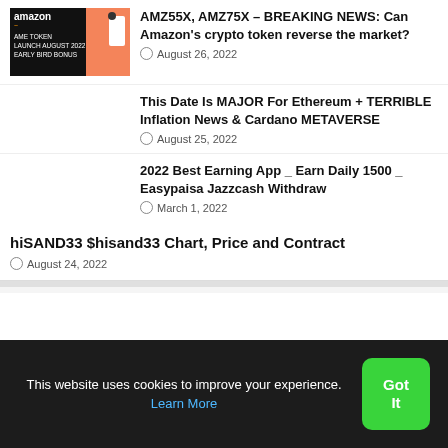[Figure (screenshot): Amazon app thumbnail with orange panel, phone graphic, text: AME TOKEN LAUNCH AUGUST 2022 EARLY BIRD BONUS]
AMZ55X, AMZ75X – BREAKING NEWS: Can Amazon's crypto token reverse the market?
August 26, 2022
This Date Is MAJOR For Ethereum + TERRIBLE Inflation News & Cardano METAVERSE
August 25, 2022
2022 Best Earning App _ Earn Daily 1500 _ Easypaisa Jazzcash Withdraw
March 1, 2022
hiSAND33 $hisand33 Chart, Price and Contract
August 24, 2022
This website uses cookies to improve your experience. Learn More
Got It